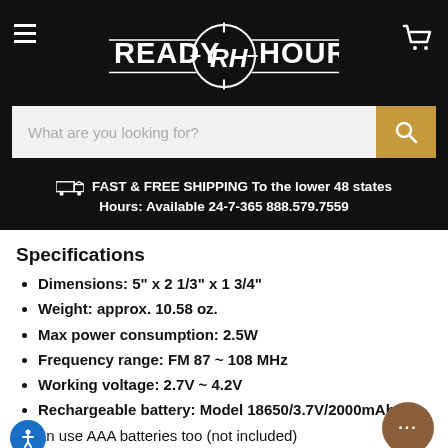[Figure (logo): Ready Hour logo with crosshair emblem, white text on black background]
What are you looking for?
FAST & FREE SHIPPING To the lower 48 states
Hours: Available 24-7-365 888.579.7559
Specifications
Dimensions: 5" x 2 1/3" x 1 3/4"
Weight: approx. 10.58 oz.
Max power consumption: 2.5W
Frequency range: FM 87 ~ 108 MHz
Working voltage: 2.7V ~ 4.2V
Rechargeable battery: Model 18650/3.7V/2000mAh
can use AAA batteries too (not included)